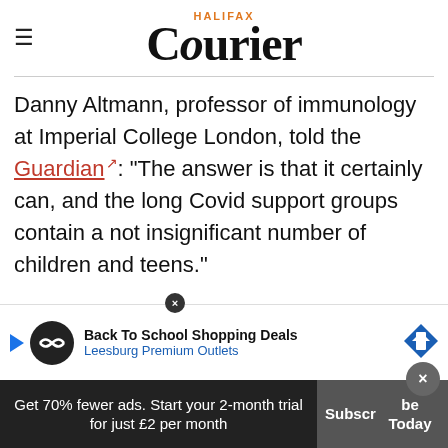HALIFAX Courier
Danny Altmann, professor of immunology at Imperial College London, told the Guardian: "The answer is that it certainly can, and the long Covid support groups contain a not insignificant number of children and teens."
Professor Christina Pagel, a member of the Independent Sage committee and director of clinical... College London said in a Twitter post that the
[Figure (screenshot): Advertisement banner: Back To School Shopping Deals, Leesburg Premium Outlets]
Get 70% fewer ads. Start your 2-month trial for just £2 per month
Subscribe Today